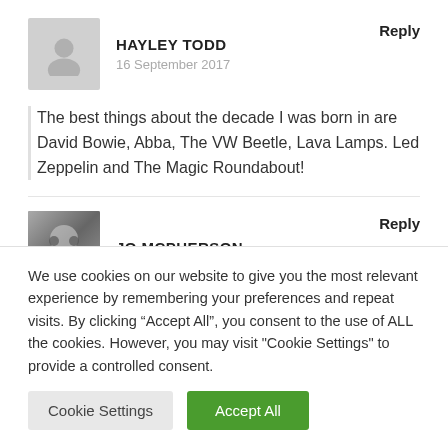HAYLEY TODD
16 September 2017
Reply
The best things about the decade I was born in are David Bowie, Abba, The VW Beetle, Lava Lamps. Led Zeppelin and The Magic Roundabout!
JO MCPHERSON
Reply
We use cookies on our website to give you the most relevant experience by remembering your preferences and repeat visits. By clicking “Accept All”, you consent to the use of ALL the cookies. However, you may visit "Cookie Settings" to provide a controlled consent.